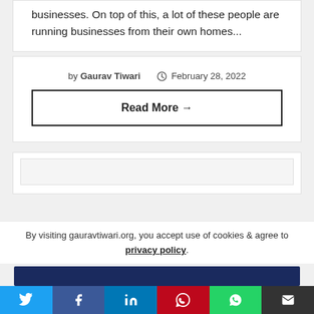businesses. On top of this, a lot of these people are running businesses from their own homes...
by Gaurav Tiwari   February 28, 2022
Read More →
By visiting gauravtiwari.org, you accept use of cookies & agree to privacy policy.
Twitter | Facebook | LinkedIn | Pinterest | WhatsApp | Email